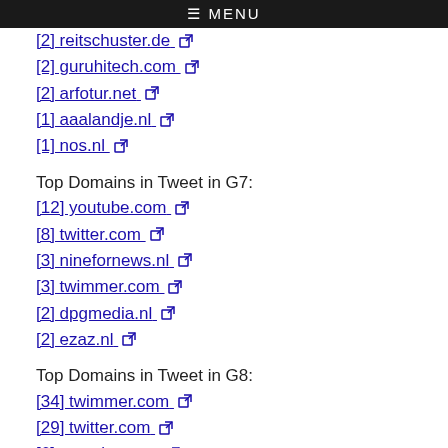≡ MENU
[2] reitschuster.de
[2] guruhitech.com
[2] arfotur.net
[1] aaalandje.nl
[1] nos.nl
Top Domains in Tweet in G7:
[12] youtube.com
[8] twitter.com
[3] ninefornews.nl
[3] twimmer.com
[2] dpgmedia.nl
[2] ezaz.nl
Top Domains in Tweet in G8:
[34] twimmer.com
[29] twitter.com
[6] youtube.com
[3] nos.nl
[1] rairfoundation.com
[1] bigleaguepolitics.com
[1] wikipedia.org
[1] rumble.com
[1] tiktok.com
[1] telegram.me